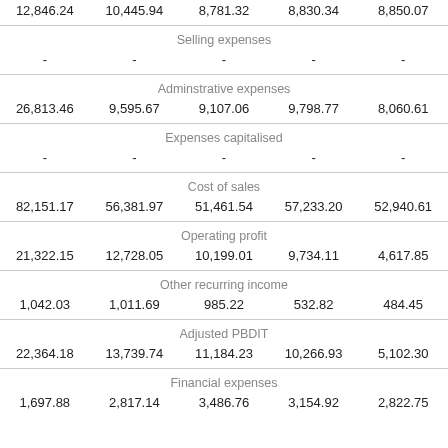| 12,846.24 | 10,445.94 | 8,781.32 | 8,830.34 | 8,850.07 |
| Selling expenses |  |  |  |  |
| - | - | - | - | - |
| Adminstrative expenses |  |  |  |  |
| 26,813.46 | 9,595.67 | 9,107.06 | 9,798.77 | 8,060.61 |
| Expenses capitalised |  |  |  |  |
| - | - | - | - | - |
| Cost of sales |  |  |  |  |
| 82,151.17 | 56,381.97 | 51,461.54 | 57,233.20 | 52,940.61 |
| Operating profit |  |  |  |  |
| 21,322.15 | 12,728.05 | 10,199.01 | 9,734.11 | 4,617.85 |
| Other recurring income |  |  |  |  |
| 1,042.03 | 1,011.69 | 985.22 | 532.82 | 484.45 |
| Adjusted PBDIT |  |  |  |  |
| 22,364.18 | 13,739.74 | 11,184.23 | 10,266.93 | 5,102.30 |
| Financial expenses |  |  |  |  |
| 1,697.88 | 2,817.14 | 3,486.76 | 3,154.92 | 2,822.75 |